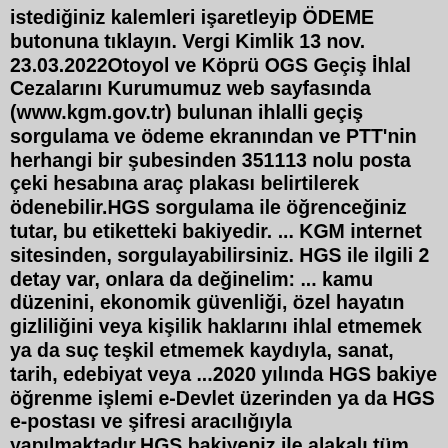istediğiniz kalemleri işaretleyip ÖDEME butonuna tıklayın. Vergi Kimlik 13 nov. 23.03.2022Otoyol ve Köprü OGS Geçiş İhlal Cezalarını Kurumumuz web sayfasında (www.kgm.gov.tr) bulunan ihlalli geçiş sorgulama ve ödeme ekranından ve PTT'nin herhangi bir şubesinden 351113 nolu posta çeki hesabına araç plakası belirtilerek ödenebilir.HGS sorgulama ile öğrenceğiniz tutar, bu etiketteki bakiyedir. ... KGM internet sitesinden, sorgulayabilirsiniz. HGS ile ilgili 2 detay var, onlara da değinelim: ... kamu düzenini, ekonomik güvenliği, özel hayatın gizliliğini veya kişilik haklarını ihlal etmemek ya da suç teşkil etmemek kaydıyla, sanat, tarih, edebiyat veya ...2020 yılında HGS bakiye öğrenme işlemi e-Devlet üzerinden ya da HGS e-postası ve şifresi aracılığıyla yapılmaktadır.HGS bakiyeniz ile alakalı tüm işlemleri aynı zamanda PTTAVM üzerinden de yaparsınız. Bunun dışında e-devlet sistemi üzerinden bakiye görüntüleme işlemleri de yapılır. Aşağıdaki adımları takip edip, Hızlı Geçiş Sistemi hesabınızdaki ... Apr